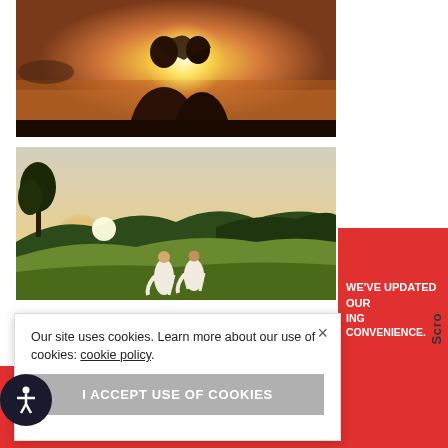[Figure (photo): Couple silhouetted against sunset at beach, forming heart shape with their hands against golden light]
[Figure (photo): Two people in white dresses running on a green hillside at golden hour with trees and mountains in background]
Our site uses cookies. Learn more about our use of cookies: cookie policy
I ACCEPT USE OF COOKIES
WE'VE UPDATED OUR
ING CONVENIENCE.
USE AUSTRALIAN DOLLAR INSTEAD. DISMISS